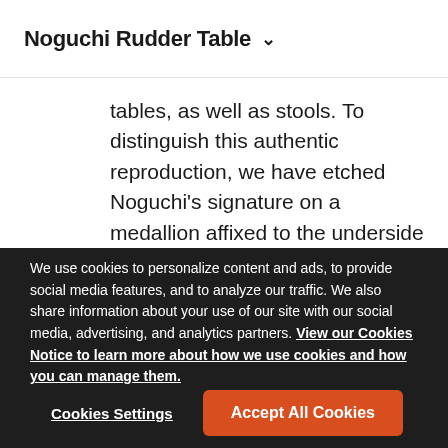Noguchi Rudder Table
tables, as well as stools. To distinguish this authentic reproduction, we have etched Noguchi's signature on a medallion affixed to the underside of the top.
We use cookies to personalize content and ads, to provide social media features, and to analyze our traffic. We also share information about your use of our site with our social media, advertising, and analytics partners. View our Cookies Notice to learn more about how we use cookies and how you can manage them.
Cookies Settings
Accept All Cookies